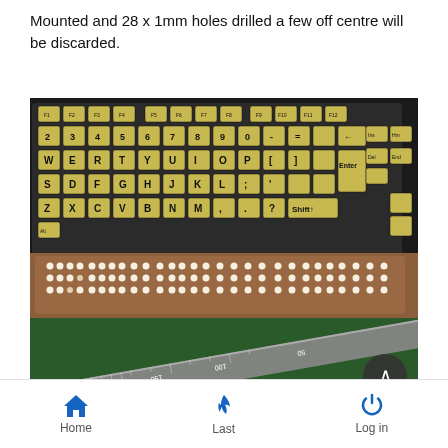Mounted and 28 x 1mm holes drilled a few off centre will be discarded.
[Figure (photo): Photo showing a large-print keyboard with yellow keys and black lettering, placed above a wooden board with rows of drilled holes (braille cell pattern). A metal ruler is visible on a green cutting mat below.]
Home   Last   Log in